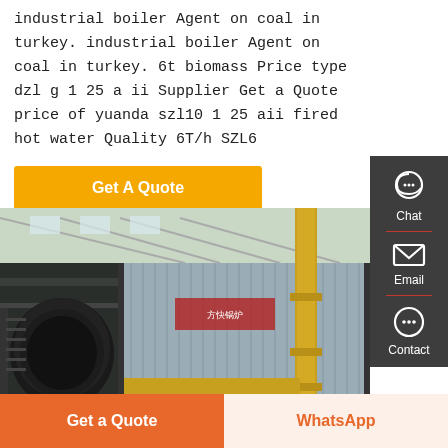industrial boiler Agent on coal in turkey. industrial boiler Agent on coal in turkey. 6t biomass Price type dzl g 1 25 a ii Supplier Get a Quote price of yuanda szl10 1 25 aii fired hot water Quality 6T/h SZL6
[Figure (other): Yellow 'Get A Quote' button]
[Figure (photo): Industrial boiler in a factory building, showing large black cylindrical boiler and silver metal casing with yellow pipes]
[Figure (infographic): Side panel with Chat, Email, Contact icons on dark grey background]
[Figure (other): Bottom bar with 'Get a Quote' orange button and 'WhatsApp' light button]